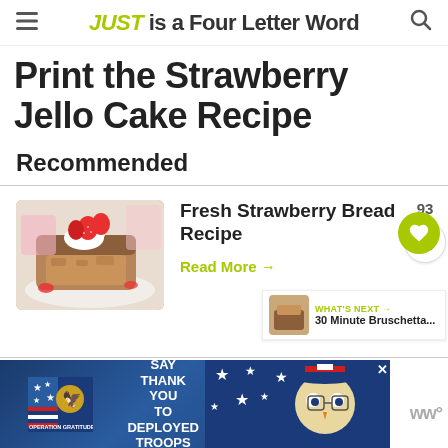JUST is a Four Letter Word
Print the Strawberry Jello Cake Recipe
Recommended
[Figure (photo): Fresh Strawberry Bread on a plate with cream and strawberries]
Fresh Strawberry Bread Recipe
Read More →
[Figure (photo): What's Next thumbnail - 30 Minute Bruschetta]
WHAT'S NEXT → 30 Minute Bruschetta...
[Figure (infographic): Operation Gratitude ad banner - SAY THANK YOU TO DEPLOYED TROOPS]